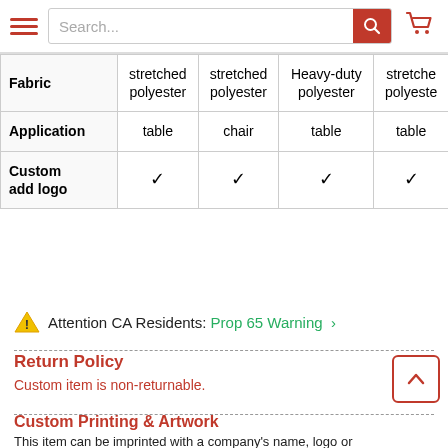Navigation bar with hamburger menu, search box, and cart icon
|  | Col1 | Col2 | Col3 | Col4 |
| --- | --- | --- | --- | --- |
| Fabric | stretched polyester | stretched polyester | Heavy-duty polyester | stretched polyester |
| Application | table | chair | table | table |
| Custom add logo | ✓ | ✓ | ✓ | ✓ |
⚠ Attention CA Residents: Prop 65 Warning >
Return Policy
Custom item is non-returnable.
Custom Printing & Artwork
This item can be imprinted with a company's name, logo or